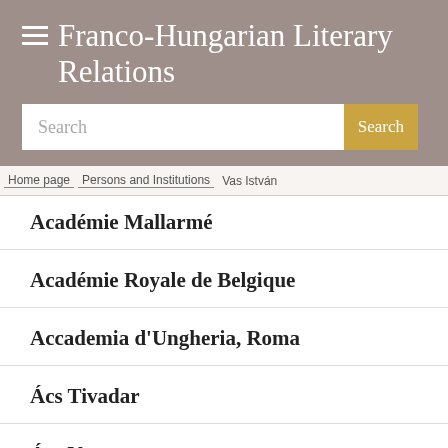Franco-Hungarian Literary Relations
Search
Home page > Persons and Institutions > Vas István
Académie Mallarmé
Académie Royale de Belgique
Accademia d'Ungheria, Roma
Ács Tivadar
Ács Vera